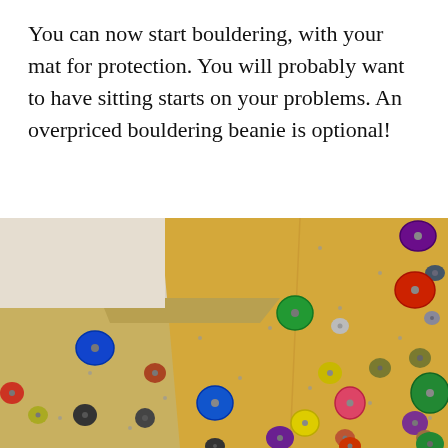You can now start bouldering, with your mat for protection. You will probably want to have sitting starts on your problems. An overpriced bouldering beanie is optional!
[Figure (photo): Indoor home bouldering wall made of plywood panels with colorful climbing holds (blue, red, green, yellow, purple, orange) attached at various positions. The wall has two sections meeting at an angle, with a overhang/roof section visible at the top. The wall is set in a room with white/cream walls.]